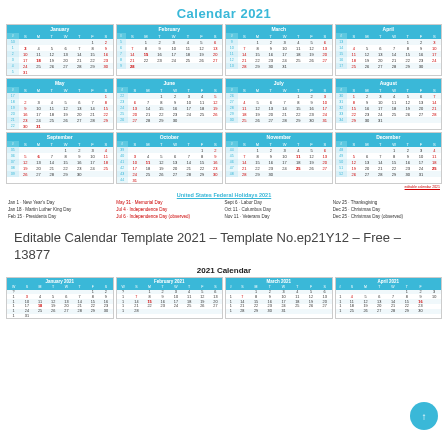Calendar 2021
[Figure (other): 2021 yearly calendar with 12 months grid layout showing all dates, week numbers, and US Federal Holidays listed below]
United States Federal Holidays 2021
Jan 1 · New Year's Day | Jan 18 · Martin Luther King Day | Feb 15 · Presidents Day | May 31 · Memorial Day | Jul 4 · Independence Day | Jul 6 · Independence Day (observed) | Sept 6 · Labor Day | Oct 11 · Columbus Day | Nov 11 · Veterans Day | Nov 25 · Thanksgiving | Dec 25 · Christmas Day | Dec 25 · Christmas Day (observed)
Editable Calendar Template 2021 – Template No.ep21Y12 – Free – 13877
2021 Calendar
[Figure (other): Bottom preview of 2021 calendar showing January 2021, February 2021, March 2021, and April 2021 monthly grids]